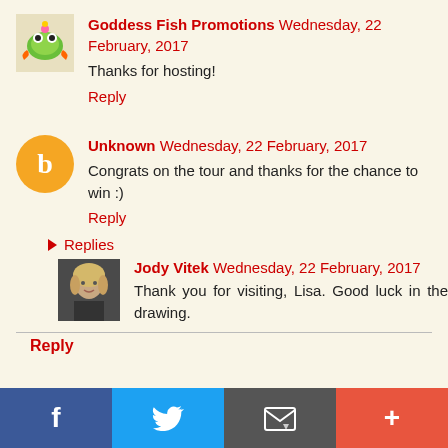[Figure (logo): Goddess Fish Promotions frog/fish logo icon]
Goddess Fish Promotions Wednesday, 22 February, 2017
Thanks for hosting!
Reply
[Figure (logo): Blogger orange circle with B icon]
Unknown Wednesday, 22 February, 2017
Congrats on the tour and thanks for the chance to win :)
Reply
Replies
[Figure (photo): Photo of Jody Vitek, woman with blonde hair]
Jody Vitek Wednesday, 22 February, 2017
Thank you for visiting, Lisa. Good luck in the drawing.
Reply